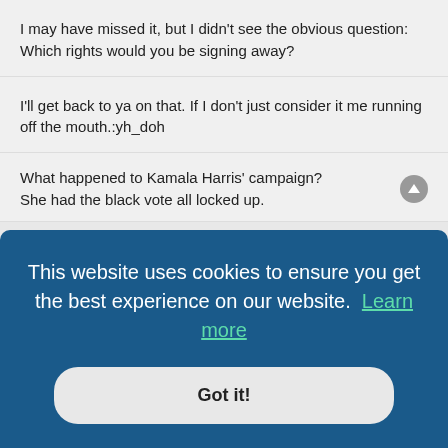I may have missed it, but I didn't see the obvious question: Which rights would you be signing away?
I'll get back to ya on that. If I don't just consider it me running off the mouth.:yh_doh
What happened to Kamala Harris' campaign?
She had the black vote all locked up.
tude dog
Are we ready for a serious discussion about changing the
This website uses cookies to ensure you get the best experience on our website. Learn more
Got it!